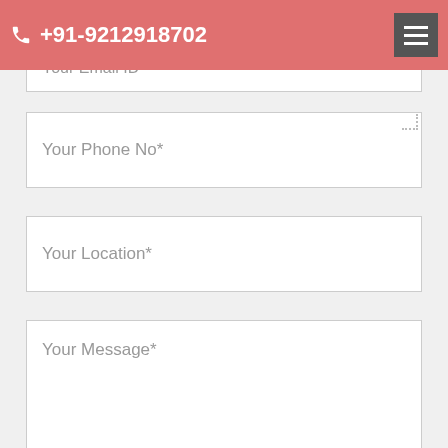+91-9212918702
Your Email ID*
Your Phone No*
Your Location*
Your Message*
Submit